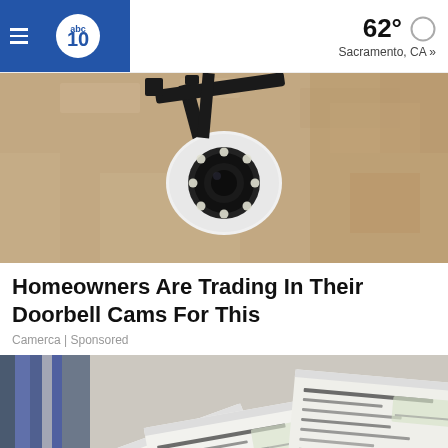abc10 | 62° Sacramento, CA »
[Figure (photo): Close-up of a white security camera with round LED ring, mounted with a black bracket on a textured stone or concrete wall]
Homeowners Are Trading In Their Doorbell Cams For This
Camerca | Sponsored
[Figure (photo): Multiple paper checks fanned out and scattered on a surface, showing printed amounts and bank routing details]